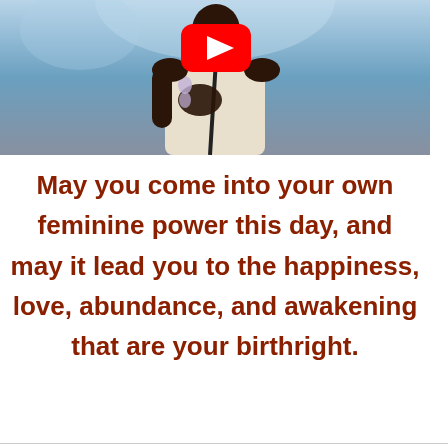[Figure (screenshot): A YouTube video thumbnail showing a person in a white dress on a blue-lit stage with a microphone, with the red YouTube play button overlay in the center top.]
May you come into your own feminine power this day, and may it lead you to the happiness, love, abundance, and awakening that are your birthright.